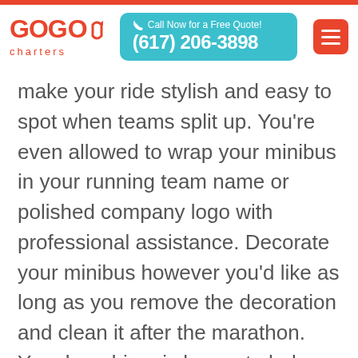[Figure (logo): GOGO Charters logo in red with 'charters' text below]
[Figure (infographic): Teal CTA box with phone icon, 'Call Now for a Free Quote!' text, and phone number (617) 206-3898]
[Figure (other): Orange hamburger menu button]
make your ride stylish and easy to spot when teams split up. You're even allowed to wrap your minibus in your running team name or polished company logo with professional assistance. Decorate your minibus however you'd like as long as you remove the decoration and clean it after the marathon. Your bus driver is happy to help you make the trip your own as you let your creativity run wild while planning your travel decorations and trip